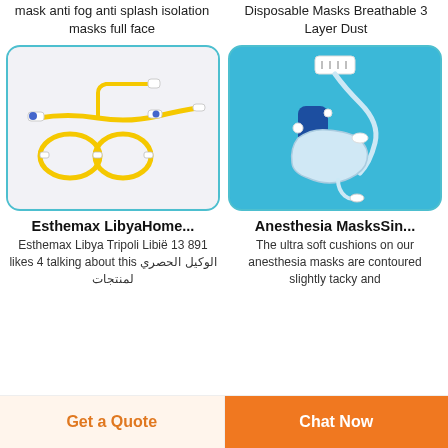Fully transparent protective mask anti fog anti splash isolation masks full face
Black Face Mask 100pcs Disposable Masks Breathable 3 Layer Dust
[Figure (photo): Yellow IV infusion set with tubing coiled on white background]
[Figure (photo): Clear anesthesia mask with blue body and tubing on blue background]
Esthemax LibyaHome...
Anesthesia MasksSin...
Esthemax Libya Tripoli Libië 13 891 likes 4 talking about this الوكيل الحصري لمنتجات
The ultra soft cushions on our anesthesia masks are contoured slightly tacky and
Get a Quote
Chat Now